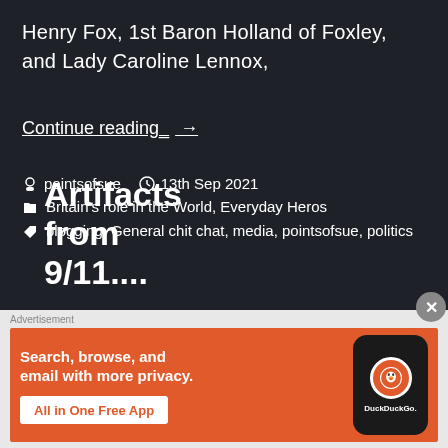Henry Fox, 1st Baron Holland of Foxley, and Lady Caroline Lennox,
Continue reading_ →
pointsofsue   13th Sep 2021
Britain's role in the World, Everyday Heros
blogging, General chit chat, media, pointsofsue, politics
Artifacts from 9/11....
[Figure (screenshot): DuckDuckGo advertisement banner with orange background. Text reads: Search, browse, and email with more privacy. All in One Free App. Shows a stylized phone with DuckDuckGo logo.]